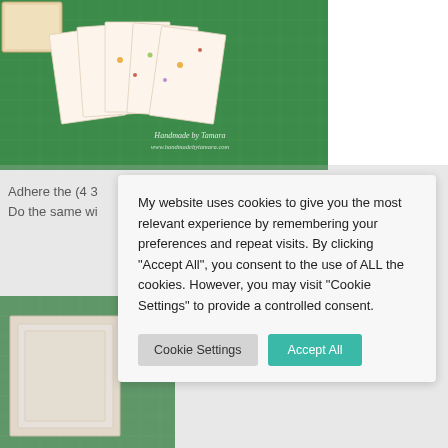[Figure (photo): Handmade floral cards displayed on a green cutting mat with a wooden box, watermark 'Handmade by Tamara www.handmadebytamara.com']
Adhere the (4 3...
Do the same wi...
[Figure (photo): Craft project on green cutting mat showing layered paper/card construction]
My website uses cookies to give you the most relevant experience by remembering your preferences and repeat visits. By clicking "Accept All", you consent to the use of ALL the cookies. However, you may visit "Cookie Settings" to provide a controlled consent.
Cookie Settings
Accept All